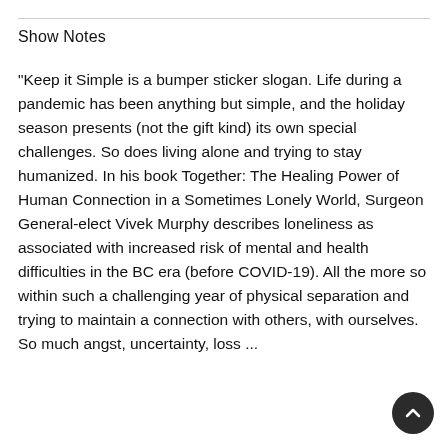Show Notes
"Keep it Simple is a bumper sticker slogan. Life during a pandemic has been anything but simple, and the holiday season presents (not the gift kind) its own special challenges. So does living alone and trying to stay humanized. In his book Together: The Healing Power of Human Connection in a Sometimes Lonely World, Surgeon General-elect Vivek Murphy describes loneliness as associated with increased risk of mental and health difficulties in the BC era (before COVID-19). All the more so within such a challenging year of physical separation and trying to maintain a connection with others, with ourselves. So much angst, uncertainty, loss ...